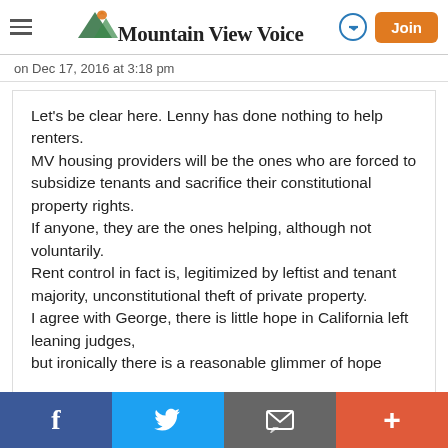Mountain View Voice
on Dec 17, 2016 at 3:18 pm
Let's be clear here. Lenny has done nothing to help renters.
MV housing providers will be the ones who are forced to subsidize tenants and sacrifice their constitutional property rights.
If anyone, they are the ones helping, although not voluntarily.
Rent control in fact is, legitimized by leftist and tenant majority, unconstitutional theft of private property.
I agree with George, there is little hope in California left leaning judges,
but ironically there is a reasonable glimmer of hope
f  Twitter  Email  +